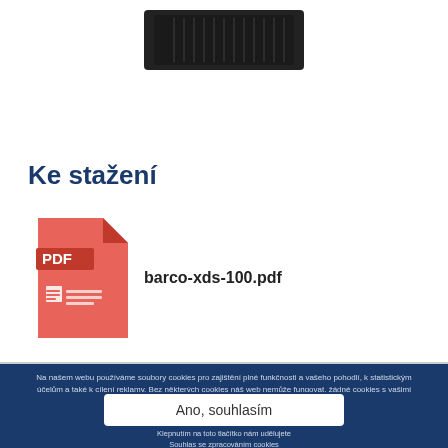[Figure (photo): Product image of Barco XDS-100 hardware device, partially visible at top of page]
Ke stažení
[Figure (illustration): PDF file icon (red/salmon colored document icon with PDF label and document lines)]
barco-xds-100.pdf
Na našem webu používáme soubory cookies pro zajištění plné funkčnosti a vašeho pohodlí, k statistickým účelům a také k cílení reklamy. Bez některých cookies náš web nemůže fungovat, žádné cookies s vašimi osobními údaji ale nebudou použity do momentu, než udělíte svůj souhlas klepnutím na tlačítko Ano, souhlasím.
Informace o zpracování osobních údajů | Změnit nastavení souborů cookies
Ano, souhlasím
Klepnutím na toto tlačítko nám udělujete Souhlas se zpracováním cookies